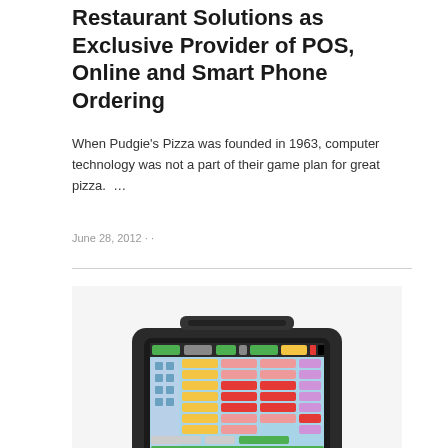Restaurant Solutions as Exclusive Provider of POS, Online and Smart Phone Ordering
When Pudgie's Pizza was founded in 1963, computer technology was not a part of their game plan for great pizza.  …
June 28, 2012 · ·
[Figure (photo): A restaurant POS terminal (HP touchscreen tablet in a stand) displaying a colorful point-of-sale ordering interface with green, yellow, pink, and red menu buttons on a blue background.]